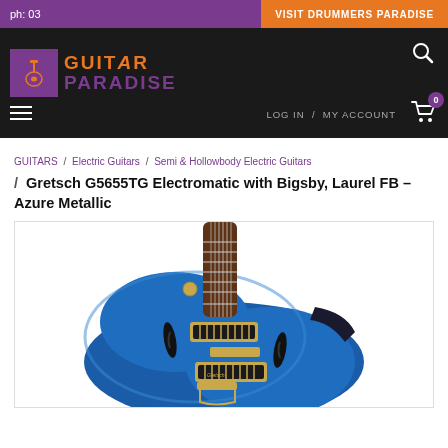ph: 03
VISIT DRUMMERS PARADISE
[Figure (logo): Guitar Paradise logo with guitar icon, orange GUITAR text and purple PARADISE text]
LOG IN / MY ACCOUNT
GUITARS / Electric Guitars / Semi & Hollowbody Electric Guitars / Gretsch G5655TG Electromatic with Bigsby, Laurel FB – Azure Metallic
Gretsch G5655TG Electromatic with Bigsby, Laurel FB – Azure Metallic
[Figure (photo): Gretsch G5655TG Electromatic guitar in Azure Metallic blue finish with gold hardware and Bigsby tailpiece, partial view showing body and pickups]